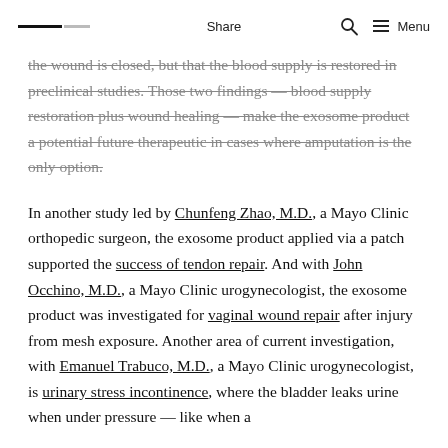Share  Menu
the wound is closed, but that the blood supply is restored in preclinical studies. Those two findings — blood supply restoration plus wound healing — make the exosome product a potential future therapeutic in cases where amputation is the only option.
In another study led by Chunfeng Zhao, M.D., a Mayo Clinic orthopedic surgeon, the exosome product applied via a patch supported the success of tendon repair. And with John Occhino, M.D., a Mayo Clinic urogynecologist, the exosome product was investigated for vaginal wound repair after injury from mesh exposure. Another area of current investigation, with Emanuel Trabuco, M.D., a Mayo Clinic urogynecologist, is urinary stress incontinence, where the bladder leaks urine when under pressure — like when a